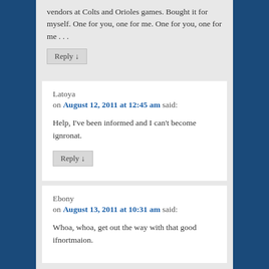vendors at Colts and Orioles games. Bought it for myself. One for you, one for me. One for you, one for me . . .
Reply ↓
Latoya
on August 12, 2011 at 12:45 am said:
Help, I've been informed and I can't become ignronat.
Reply ↓
Ebony
on August 13, 2011 at 10:31 am said:
Whoa, whoa, get out the way with that good ifnortmaion.